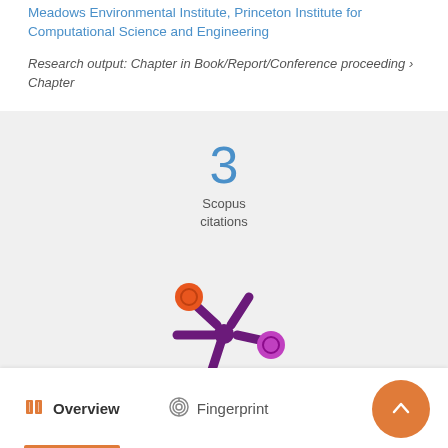Meadows Environmental Institute, Princeton Institute for Computational Science and Engineering
Research output: Chapter in Book/Report/Conference proceeding › Chapter
[Figure (other): Scopus citations count showing the number 3 in blue, with label 'Scopus citations' below]
[Figure (logo): Altmetric badge logo - a colorful asterisk/snowflake shape with orange, purple, and magenta circles]
Overview
Fingerprint